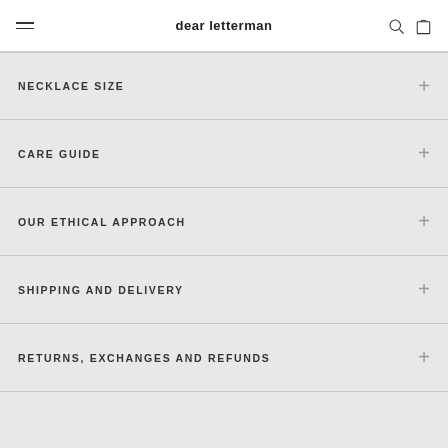dear letterman
NECKLACE SIZE
CARE GUIDE
OUR ETHICAL APPROACH
SHIPPING AND DELIVERY
RETURNS, EXCHANGES AND REFUNDS